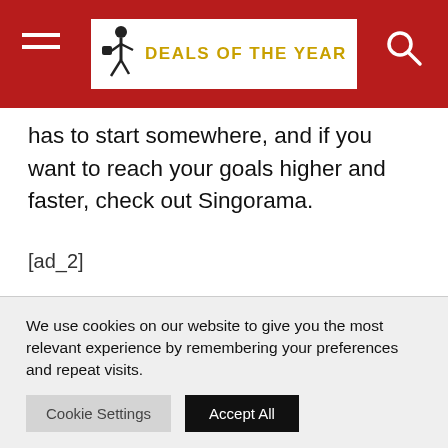DEALS OF THE YEAR
has to start somewhere, and if you want to reach your goals higher and faster, check out Singorama.
[ad_2]
Click here to get Learn How To Sing – Singorama at discounted price while it's still available...
We use cookies on our website to give you the most relevant experience by remembering your preferences and repeat visits.